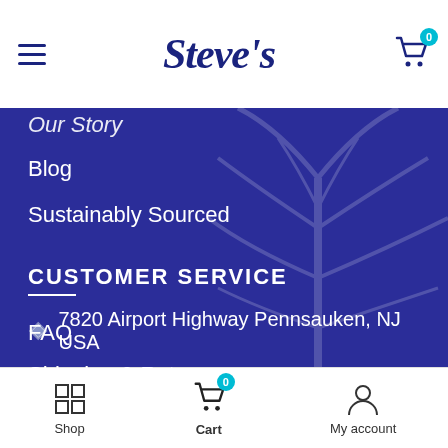Steve's — Navigation header with hamburger menu and cart
Our Story (partial/cut off)
Blog
Sustainably Sourced
CUSTOMER SERVICE
FAQ
Shipping & Returns
Contact Us
Privacy Policy
Terms Of Use
7820 Airport Highway Pennsauken, NJ USA
Shop | Cart (0) | My account